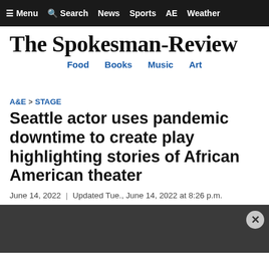≡ Menu   Search   News   Sports   AE   Weather
The Spokesman-Review
Food   Books   Music   Art
A&E > STAGE
Seattle actor uses pandemic downtime to create play highlighting stories of African American theater
June 14, 2022 | Updated Tue., June 14, 2022 at 8:26 p.m.
[Figure (photo): Dark/gray image area at bottom of page, partially visible, with an X close button overlay in the lower right]